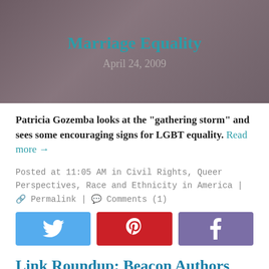[Figure (photo): Hero image with dark brownish-gray background showing blurred figures, with title 'Marriage Equality' in teal and date 'April 24, 2009' in gray]
Patricia Gozemba looks at the "gathering storm" and sees some encouraging signs for LGBT equality. Read more →
Posted at 11:05 AM in Civil Rights, Queer Perspectives, Race and Ethnicity in America | 🔗 Permalink | 💬 Comments (1)
[Figure (other): Three social media share buttons: Twitter (blue), Pinterest (red), Facebook (purple)]
Link Roundup: Beacon Authors on the Airwaves and in Print